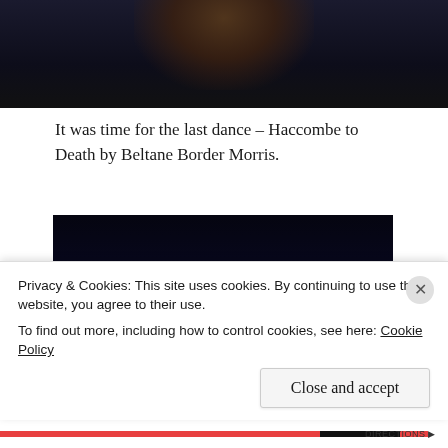[Figure (photo): Partial photo at top of page showing a dark scene with a person's hair/head silhouette against a dark blue-purple background.]
It was time for the last dance – Haccombe to Death by Beltane Border Morris.
[Figure (photo): Nighttime outdoor photo showing fire performers with large flames, surrounded by a large crowd of spectators. The scene is dark with vibrant orange and yellow fire.]
Privacy & Cookies: This site uses cookies. By continuing to use this website, you agree to their use.
To find out more, including how to control cookies, see here: Cookie Policy
Close and accept